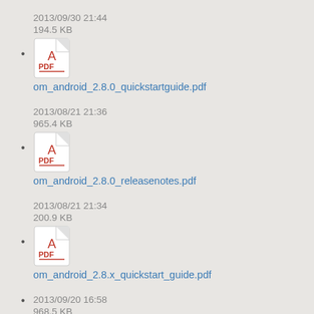2013/09/30 21:44
194.5 KB
om_android_2.8.0_quickstartguide.pdf
2013/08/21 21:36
965.4 KB
om_android_2.8.0_releasenotes.pdf
2013/08/21 21:34
200.9 KB
om_android_2.8.x_quickstart_guide.pdf
2013/09/20 16:58
968.5 KB